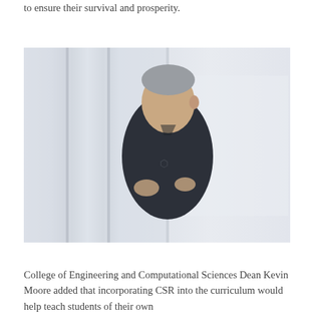to ensure their survival and prosperity.
[Figure (photo): A man with gray hair wearing a dark polo shirt, standing and speaking, likely in a classroom or conference room setting with white walls and doors in the background.]
College of Engineering and Computational Sciences Dean Kevin Moore added that incorporating CSR into the curriculum would help teach students of their own